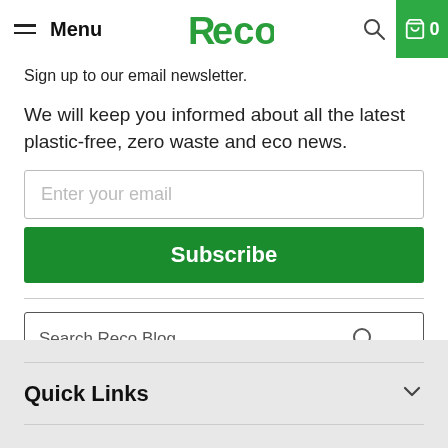Menu | Reco | 0
Sign up to our email newsletter.
We will keep you informed about all the latest plastic-free, zero waste and eco news.
Enter your email
Subscribe
Search Reco Blog...
Quick Links